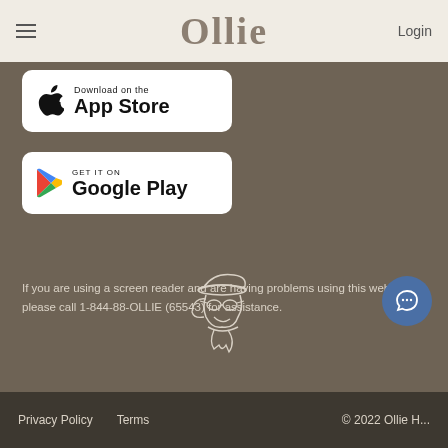Ollie | Login
[Figure (screenshot): Download on the App Store button - white rounded rectangle with Apple logo icon and text 'Download on the App Store']
[Figure (screenshot): Get it on Google Play button - white rounded rectangle with Google Play triangle logo and text 'GET IT ON Google Play']
[Figure (illustration): Line drawing illustration of a dog wearing a hat and sunglasses on brown background]
If you are using a screen reader and are having problems using this website, please call 1-844-88-OLLIE (65543) for assistance.
Privacy Policy   Terms   © 2022 Ollie H...